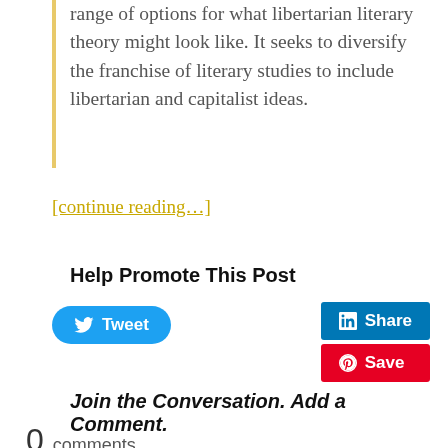range of options for what libertarian literary theory might look like. It seeks to diversify the franchise of literary studies to include libertarian and capitalist ideas.
[continue reading…]
Help Promote This Post
[Figure (other): Social media sharing buttons: Tweet (Twitter, blue rounded), Share (LinkedIn, blue square), Save (Pinterest, red square)]
Join the Conversation. Add a Comment.
0 comments